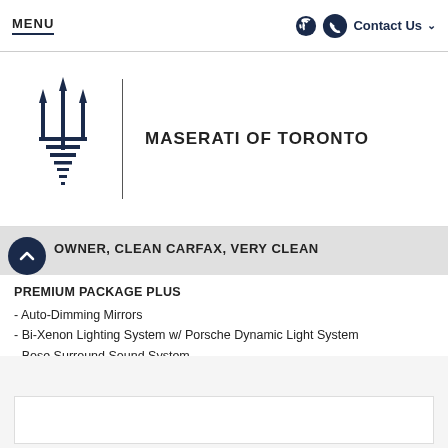MENU | Contact Us
[Figure (logo): Maserati trident logo (black) with vertical divider and dealer name MASERATI OF TORONTO]
OWNER, CLEAN CARFAX, VERY CLEAN
PREMIUM PACKAGE PLUS
- Auto-Dimming Mirrors
- Bi-Xenon Lighting System w/ Porsche Dynamic Light System
- Bose Surround Sound System
- Panoramic Roof
- Heated Rear Seats
- Front Seat Ventilation
- Porsche Entry a.... Read More